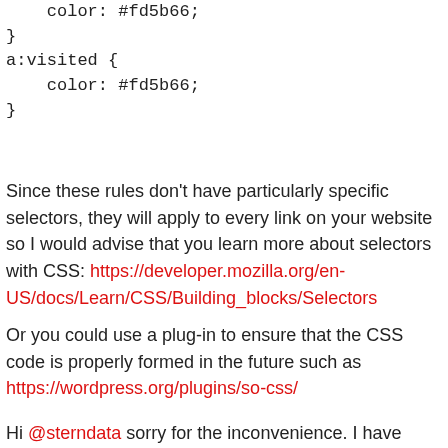color: #fd5b66;
}
a:visited {
    color: #fd5b66;
}
Since these rules don't have particularly specific selectors, they will apply to every link on your website so I would advise that you learn more about selectors with CSS: https://developer.mozilla.org/en-US/docs/Learn/CSS/Building_blocks/Selectors
Or you could use a plug-in to ensure that the CSS code is properly formed in the future such as https://wordpress.org/plugins/so-css/
Hi @sterndata sorry for the inconvenience. I have